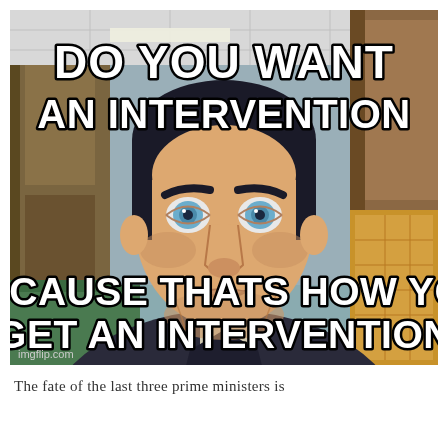[Figure (illustration): Archer meme: animated male character with dark hair, blue eyes, and suit. Top text reads 'DO YOU WANT AN INTERVENTION'. Bottom text reads 'BECAUSE THATS HOW YOU GET AN INTERVENTION'. Watermark: imgflip.com]
The fate of the last three prime ministers is